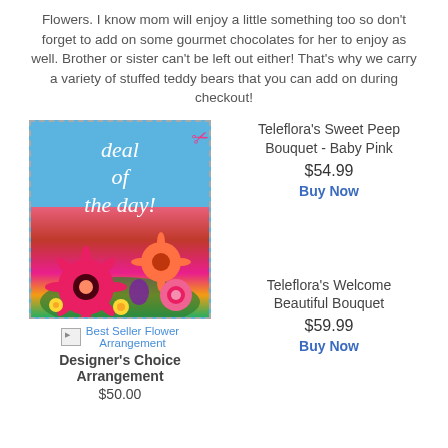Flowers. I know mom will enjoy a little something too so don't forget to add on some gourmet chocolates for her to enjoy as well. Brother or sister can't be left out either! That's why we carry a variety of stuffed teddy bears that you can add on during checkout!
[Figure (photo): Deal of the day flower bouquet image with dashed border and scissors icon, featuring colorful flowers including pink gerbera daisies and roses on a light blue background with text 'deal of the day!']
Best Seller Flower Arrangement
Designer's Choice Arrangement
$50.00
Teleflora's Sweet Peep Bouquet - Baby Pink
$54.99
Buy Now
Teleflora's Welcome Beautiful Bouquet
$59.99
Buy Now